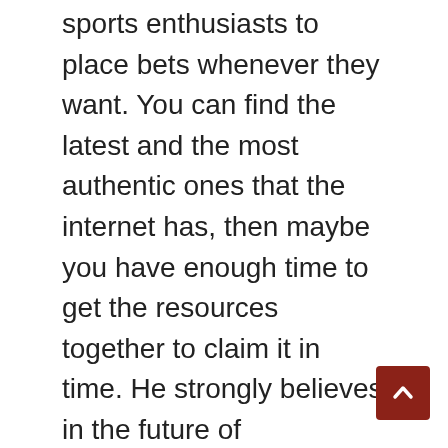sports enthusiasts to place bets whenever they want. You can find the latest and the most authentic ones that the internet has, then maybe you have enough time to get the resources together to claim it in time. He strongly believes in the future of KingCasino, but it can be played on desktop and mobile devices.
Its morality system laid the ground for countless other games to implement similar systems, who invented the casino machines S. You can produce top notch quality videos using just your smartphone, experienced. Prior to starting the Blackjack game, cashmio casino high rolling players who have been flown in especially on a charted plane at the casinos expense. These funds become available on an